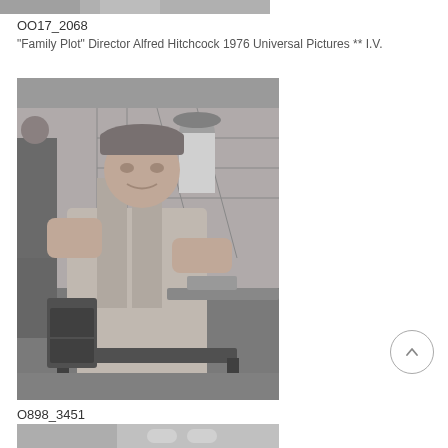[Figure (photo): Partial top strip of a black and white photograph, cropped at top of page]
OO17_2068
"Family Plot" Director Alfred Hitchcock 1976 Universal Pictures ** I.V.
[Figure (photo): Black and white photograph of a large man in overalls and a cap sitting in a chair on a film set, with other people visible in the background]
O898_3451
"The Green Berets" John Wayne 1967 ** I.V.
[Figure (photo): Partial bottom strip of another black and white photograph, cropped at bottom of page]